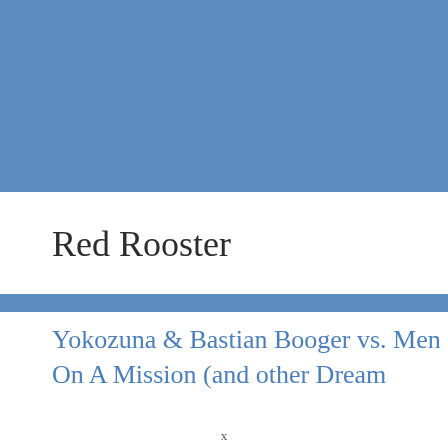[Figure (other): Solid steel blue rectangular color block filling the top portion of the page]
Red Rooster
[Figure (other): Thin steel blue horizontal stripe/divider]
Yokozuna & Bastian Booger vs. Men On A Mission (and other Dream
x